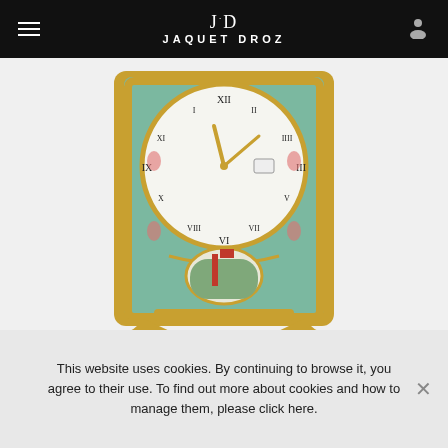JAQUET DROZ
[Figure (photo): Antique Jaquet Droz carriage clock with ornate gold and teal enamel case, white enamel dial with Roman numerals, and gold hands, featuring decorative painted miniature in the lower front panel.]
31 MARCH 2022
2022 - THE HISTORIC AUCTIONS CONTINUES FOR JAQUET DROZ
This website uses cookies. By continuing to browse it, you agree to their use. To find out more about cookies and how to manage them, please click here.